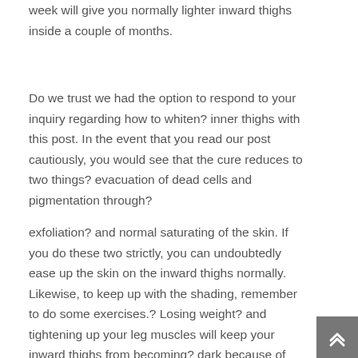week will give you normally lighter inward thighs inside a couple of months.
Do we trust we had the option to respond to your inquiry regarding how to whiten? inner thighs with this post. In the event that you read our post cautiously, you would see that the cure reduces to two things? evacuation of dead cells and pigmentation through?
exfoliation? and normal saturating of the skin. If you do these two strictly, you can undoubtedly ease up the skin on the inward thighs normally. Likewise, to keep up with the shading, remember to do some exercises.? Losing weight? and tightening up your leg muscles will keep your inward thighs from becoming? dark because of rubbing.